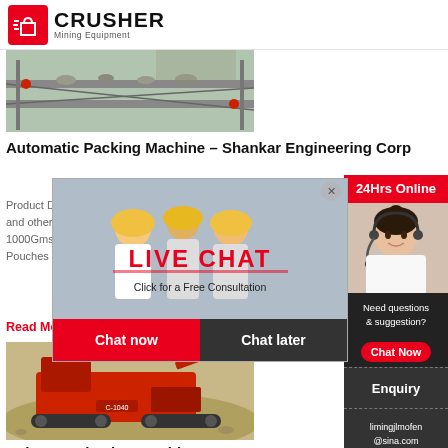CRUSHER Mining Equipment
[Figure (photo): Conveyor belt system carrying gravel/crushed stone]
Automatic Packing Machine – Shankar Engineering Corp
Product Det... used for pac... and other fr... 1000Gms. P... Pouches Pe...
Read More
[Figure (photo): Live chat popup overlay with workers in hard hats and customer service agent]
[Figure (photo): Red mobile crushing machine/equipment on gravel mound]
Spices Packaging machine – 10 Gm To 20...
[Figure (infographic): Right sidebar with 24Hrs Online banner, customer service agent photo, Chat Now button, Enquiry link, and email limingjlmofen@sina.com]